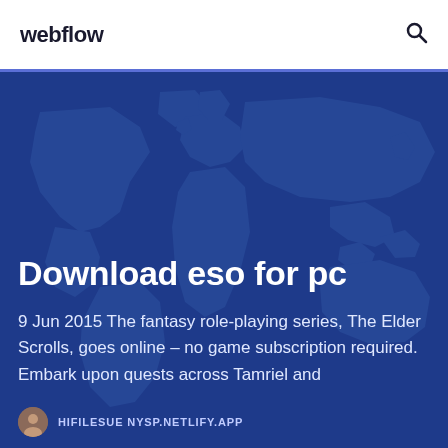webflow
[Figure (illustration): World map silhouette on dark blue background used as hero section backdrop]
Download eso for pc
9 Jun 2015 The fantasy role-playing series, The Elder Scrolls, goes online – no game subscription required. Embark upon quests across Tamriel and
HIFILESUE NYSP.NETLIFY.APP